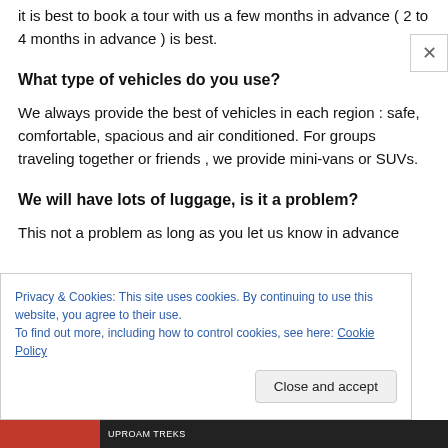it is best to book a tour with us a few months in advance ( 2 to 4 months in advance ) is best.
What type of vehicles do you use?
We always provide the best of vehicles in each region : safe, comfortable, spacious and air conditioned. For groups traveling together or friends , we provide mini-vans or SUVs.
We will have lots of luggage, is it a problem?
This not a problem as long as you let us know in advance
Privacy & Cookies: This site uses cookies. By continuing to use this website, you agree to their use.
To find out more, including how to control cookies, see here: Cookie Policy